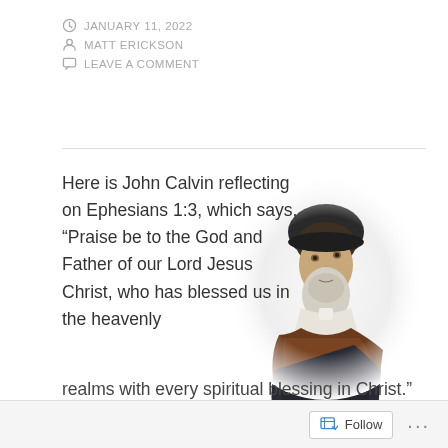JANUARY 11, 2022 | MATT ERICKSON | LEAVE A COMMENT
[Figure (illustration): Portrait illustration of John Calvin, a bearded man wearing a dark cap and fur-trimmed robe, depicted in a historical engraving style with a faded white vignette background.]
Here is John Calvin reflecting on Ephesians 1:3, which says, “Praise be to the God and Father of our Lord Jesus Christ, who has blessed us in the heavenly realms with every spiritual blessing in Christ.” This is
Follow ...